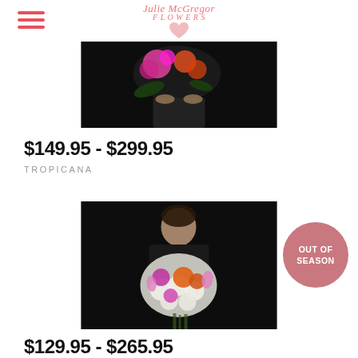Julie McGregor Flowers
[Figure (photo): Person holding tropical flowers (pink and orange) against black background — top portion cropped]
$149.95 - $299.95
TROPICANA
[Figure (photo): Woman in black dress holding a bouquet of orange, pink, and white flowers against black background, with 'OUT OF SEASON' badge overlay]
$129.95 - $265.95